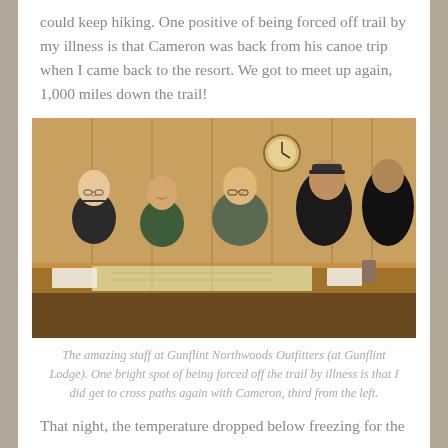could keep hiking. One positive of being forced off trail by my illness is that Cameron was back from his canoe trip when I came back to the resort. We got to meet up again, 1,000 miles down the trail!
[Figure (photo): Group photo of four people posing around a wooden counter/desk inside a rustic lodge with wooden walls, maps on the counter, and various items in the background.]
The amazing staff at Gunflint Northwoods Outfitters (at Gunflint Lodge). One bright spot of being forced off the trail by illness is that I did get to cross paths again with Cameron, third from the left.
That night, the temperature dropped below freezing for the